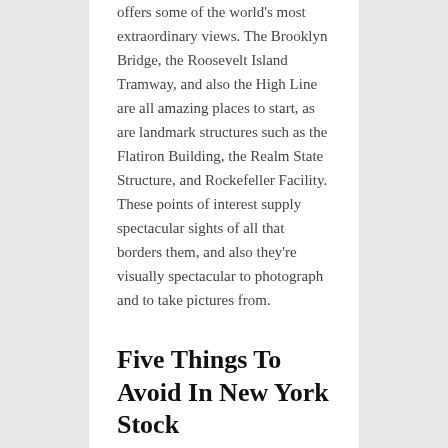offers some of the world's most extraordinary views. The Brooklyn Bridge, the Roosevelt Island Tramway, and also the High Line are all amazing places to start, as are landmark structures such as the Flatiron Building, the Realm State Structure, and Rockefeller Facility. These points of interest supply spectacular sights of all that borders them, and also they're visually spectacular to photograph and to take pictures from.
Five Things To Avoid In New York Stock